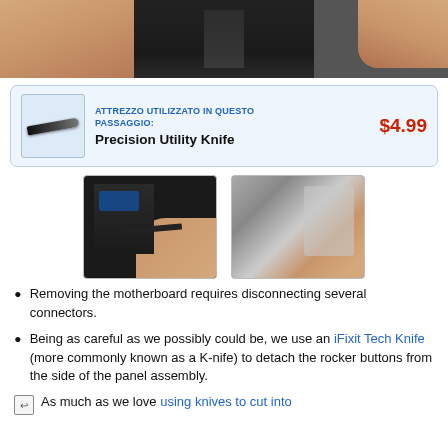[Figure (photo): Top portion of a hands holding a device, likely a smartphone, partially cropped]
[Figure (infographic): Tool callout box with image of Precision Utility Knife and price $4.99. Label reads ATTREZZO UTILIZZATO IN QUESTO PASSAGGIO: Precision Utility Knife]
[Figure (photo): Two step images side by side: left shows a tool being inserted into a smartphone motherboard area, right shows hands bending a panel away from an assembly]
Removing the motherboard requires disconnecting several connectors.
Being as careful as we possibly could be, we use an iFixit Tech Knife (more commonly known as a K-nife) to detach the rocker buttons from the side of the panel assembly.
As much as we love using knives to cut into